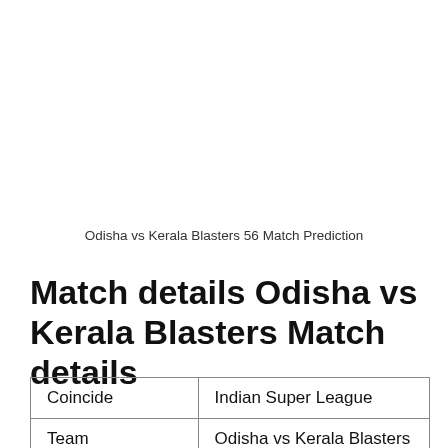Odisha vs Kerala Blasters 56 Match Prediction
Match details Odisha vs Kerala Blasters Match details
| Coincide | Indian Super League |
| Team | Odisha vs Kerala Blasters |